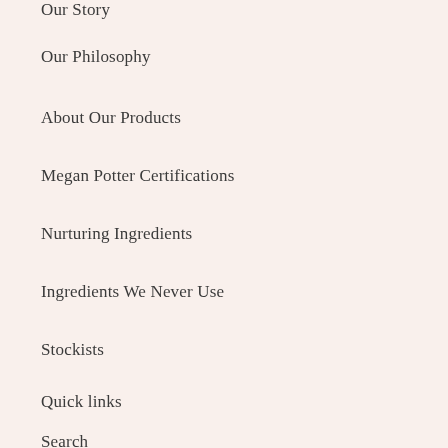Our Story
Our Philosophy
About Our Products
Megan Potter Certifications
Nurturing Ingredients
Ingredients We Never Use
Stockists
Quick links
Search